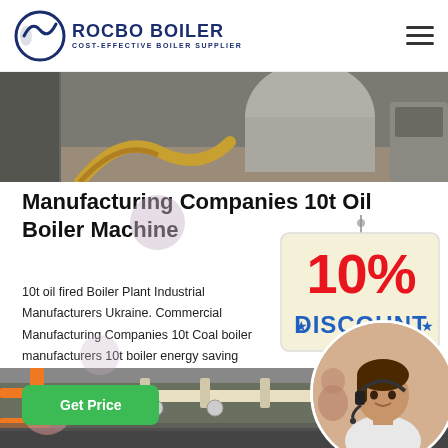ROCBO BOILER — COST-EFFECTIVE BOILER SUPPLIER
[Figure (photo): Boiler equipment industrial photo — hoses and metal boiler machinery]
Manufacturing Companies 10t Oil Boiler Machine
10t oil fired Boiler Plant Industrial Manufacturers Ukraine. Commercial Manufacturing Companies 10t Coal boiler manufacturers 10t boiler energy saving azerbaijan biomass wood pellet boilerGas Oil Fired -zozen boiler. paper...
[Figure (infographic): 10% DISCOUNT badge overlay graphic]
[Figure (photo): Customer service woman with headset — circular cropped photo overlay]
[Figure (photo): Industrial pipe/boiler room equipment photo at bottom of page]